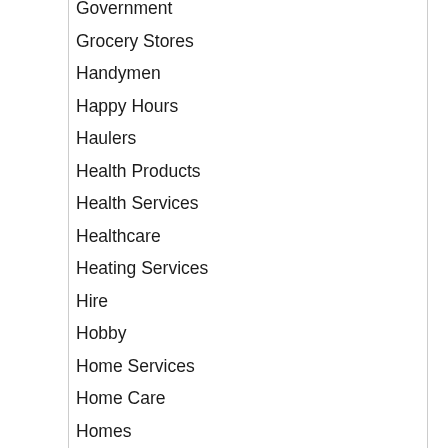Government
Grocery Stores
Handymen
Happy Hours
Haulers
Health Products
Health Services
Healthcare
Heating Services
Hire
Hobby
Home Services
Home Care
Homes
Hotels and Lodging